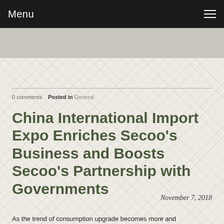Menu
0 comments   Posted in General
China International Import Expo Enriches Secoo's Business and Boosts Secoo's Partnership with Governments
November 7, 2018
As the trend of consumption upgrade becomes more and